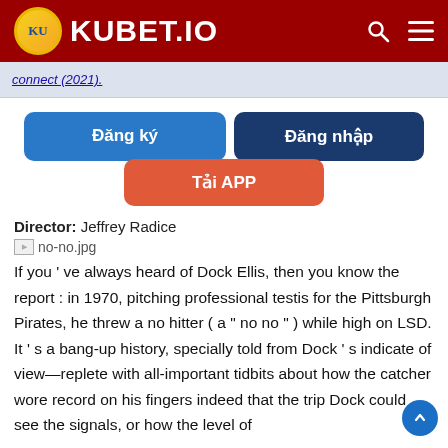KUBET.IO
Đăng ký   Đăng nhập   Tải APP
Director:  Jeffrey Radice
[Figure (other): Broken image placeholder labeled no-no.jpg]
If you ' ve always heard of Dock Ellis, then you know the report : in 1970, pitching professional testis for the Pittsburgh Pirates, he threw a no hitter ( a " no no " ) while high on LSD. It ' s a bang-up history, specially told from Dock ' s indicate of view—replete with all-important tidbits about how the catcher wore record on his fingers indeed that the trip Dock could see the signals, or how the level of